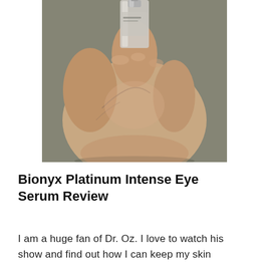[Figure (photo): A close-up photograph of a hand gripping a small cosmetic serum bottle with a silver/metallic pump top, against a grayish-green background.]
Bionyx Platinum Intense Eye Serum Review
I am a huge fan of Dr. Oz. I love to watch his show and find out how I can keep my skin